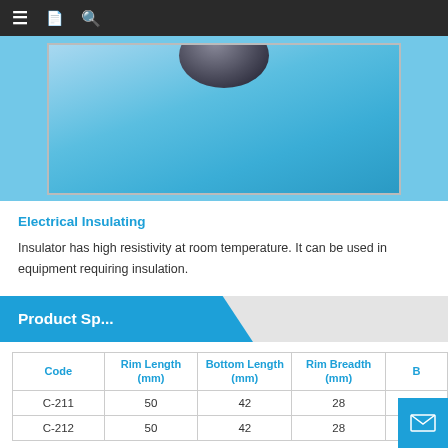Navigation bar with menu, bookmark, and search icons
[Figure (photo): Close-up photo of an electrical insulator component on blue background]
Electrical Insulating
Insulator has high resistivity at room temperature. It can be used in equipment requiring insulation.
Product Sp...
| Code | Rim Length (mm) | Bottom Length (mm) | Rim Breadth (mm) | B... |
| --- | --- | --- | --- | --- |
| C-211 | 50 | 42 | 28 |  |
| C-212 | 50 | 42 | 28 |  |